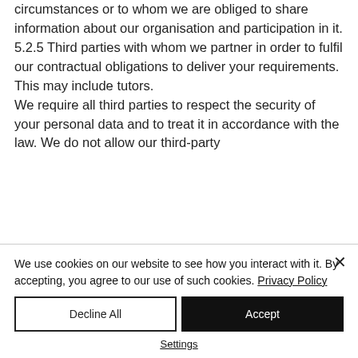circumstances or to whom we are obliged to share information about our organisation and participation in it. 5.2.5 Third parties with whom we partner in order to fulfil our contractual obligations to deliver your requirements. This may include tutors. We require all third parties to respect the security of your personal data and to treat it in accordance with the law. We do not allow our third-party
We use cookies on our website to see how you interact with it. By accepting, you agree to our use of such cookies. Privacy Policy
Decline All
Accept
Settings